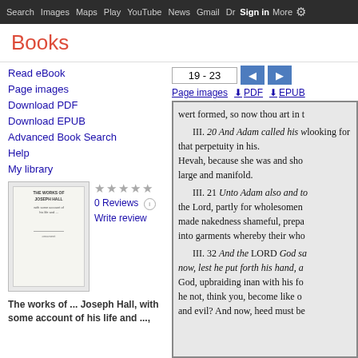Search  Images  Maps  Play  YouTube  News  Gmail  Drive  More  Sign in  Settings
Books
Read eBook
Page images
Download PDF
Download EPUB
Advanced Book Search
Help
My library
0 Reviews
Write review
The works of ... Joseph Hall, with some account of his life and ...,
19 - 23
Page images  ⬇ PDF  ⬇ EPUB
[Figure (screenshot): A scanned book page showing biblical commentary text, partially visible. Text includes sections III.20, III.21, III.32 with italic and mixed text discussing Adam, Eve, Lord God, nakedness, and garments.]